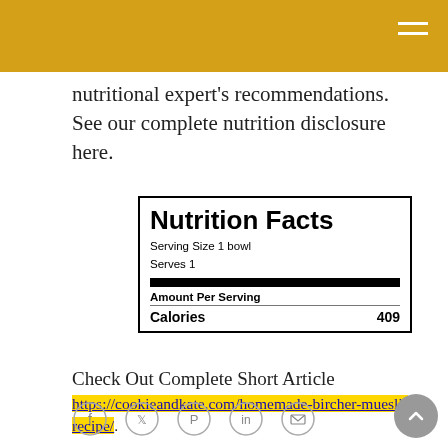nutritional expert's recommendations. See our complete nutrition disclosure here.
[Figure (infographic): Nutrition Facts label showing: Serving Size 1 bowl, Serves 1, Amount Per Serving, Calories 409]
Check Out Complete Short Article https://cookieandkate.com/homemade-bircher-muesli-recipe/.
[Figure (infographic): Social media share icons: Facebook, Twitter, Pinterest, LinkedIn, Email]